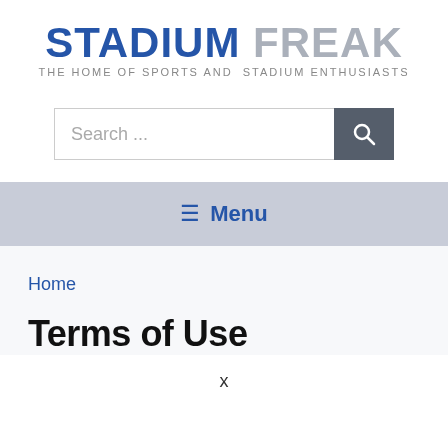STADIUM FREAK — THE HOME OF SPORTS AND STADIUM ENTHUSIASTS
[Figure (screenshot): Search bar with text 'Search ...' and a dark grey search button with magnifying glass icon]
≡ Menu
Home
Terms of Use